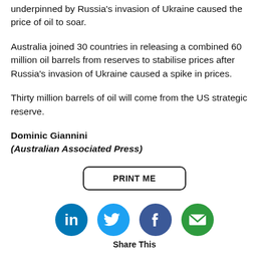underpinned by Russia's invasion of Ukraine caused the price of oil to soar.
Australia joined 30 countries in releasing a combined 60 million oil barrels from reserves to stabilise prices after Russia's invasion of Ukraine caused a spike in prices.
Thirty million barrels of oil will come from the US strategic reserve.
Dominic Giannini
(Australian Associated Press)
[Figure (other): PRINT ME button]
[Figure (other): Social share icons: LinkedIn, Twitter, Facebook, Email. Below: Share This label.]